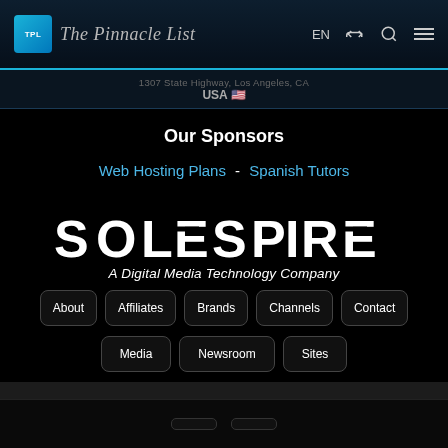The Pinnacle List — EN navigation header
1307 State Highway, Los Angeles, CA
USA 🇺🇸
Our Sponsors
Web Hosting Plans - Spanish Tutors
[Figure (logo): SOLESPIRE logo in white block letters with horizontal-stripe design on some letters]
A Digital Media Technology Company
About
Affiliates
Brands
Channels
Contact
Media
Newsroom
Sites
[Figure (infographic): Social media icons row: Instagram, Facebook, Twitter, LinkedIn, Pinterest, VK, Telegram, YouTube]